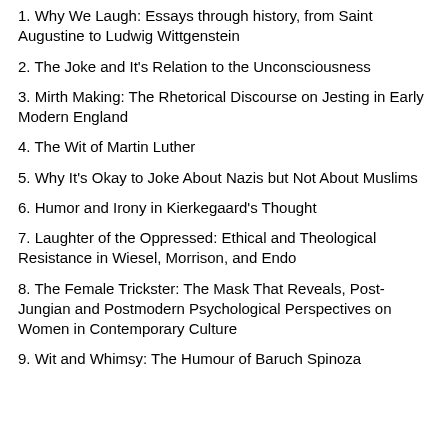1. Why We Laugh: Essays through history, from Saint Augustine to Ludwig Wittgenstein
2. The Joke and It's Relation to the Unconsciousness
3. Mirth Making: The Rhetorical Discourse on Jesting in Early Modern England
4. The Wit of Martin Luther
5. Why It's Okay to Joke About Nazis but Not About Muslims
6. Humor and Irony in Kierkegaard's Thought
7. Laughter of the Oppressed: Ethical and Theological Resistance in Wiesel, Morrison, and Endo
8. The Female Trickster: The Mask That Reveals, Post-Jungian and Postmodern Psychological Perspectives on Women in Contemporary Culture
9. Wit and Whimsy: The Humour of Baruch Spinoza